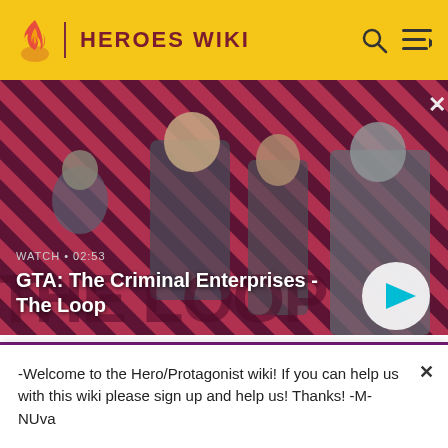HEROES WIKI
[Figure (screenshot): GTA: The Criminal Enterprises - The Loop video thumbnail showing four characters on a diagonal striped red/dark background. Text: WATCH • 02:53 and title GTA: The Criminal Enterprises - The Loop with a play button.]
Categories
Community content is available under CC BY SA unless
-Welcome to the Hero/Protagonist wiki! If you can help us with this wiki please sign up and help us! Thanks! -M-NUva